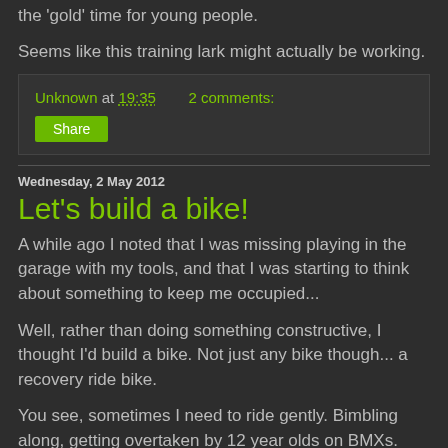the 'gold' time for young people.
Seems like this training lark might actually be working.
Unknown at 19:35   2 comments:
Share
Wednesday, 2 May 2012
Let's build a bike!
A while ago I noted that I was missing playing in the garage with my tools, and that I was starting to think about something to keep me occupied...
Well, rather than doing something constructive, I thought I'd build a bike. Not just any bike though... a recovery ride bike.
You see, sometimes I need to ride gently. Bimbling along, getting overtaken by 12 year olds on BMXs. Doing this on my current road bikes grates a little as it feels slightly